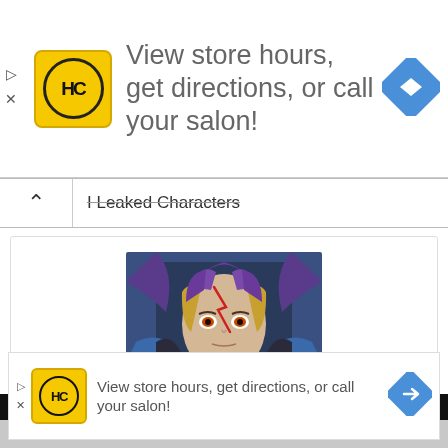[Figure (screenshot): Advertisement banner for a salon with HC logo, text 'View store hours, get directions, or call your salon!' and a blue navigation arrow diamond icon.]
Leaked Characters
[Figure (illustration): Anime character portrait of Paradox from Yu-Gi-Oh with purple spiky hair, gold streaks, and dark armor, facing forward with an intense expression.]
Paradox
Yu-Gi-OH Vrains
[Figure (screenshot): Second advertisement banner for a salon with HC logo, text 'View store hours, get directions, or call your salon!' and a blue navigation arrow diamond icon.]